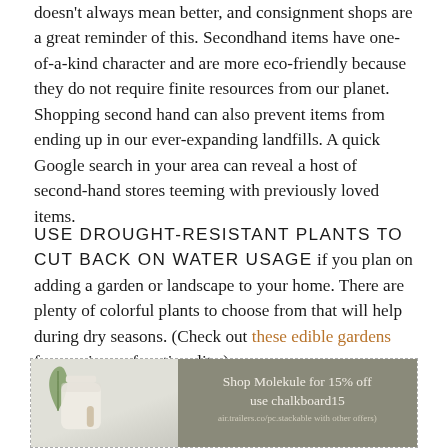doesn't always mean better, and consignment shops are a great reminder of this. Secondhand items have one-of-a-kind character and are more eco-friendly because they do not require finite resources from our planet. Shopping second hand can also prevent items from ending up in our ever-expanding landfills. A quick Google search in your area can reveal a host of second-hand stores teeming with previously loved items.
USE DROUGHT-RESISTANT PLANTS TO CUT BACK ON WATER USAGE if you plan on adding a garden or landscape to your home. There are plenty of colorful plants to choose from that will help during dry seasons. (Check out these edible gardens for maximum functionality.)
[Figure (infographic): Advertisement banner for Molekule with dashed border. Left side shows a white air purifier device with a small plant. Right side has a dark taupe/grey background with white text: 'Shop Molekule for 15% off use chalkboard15' and fine print below.]